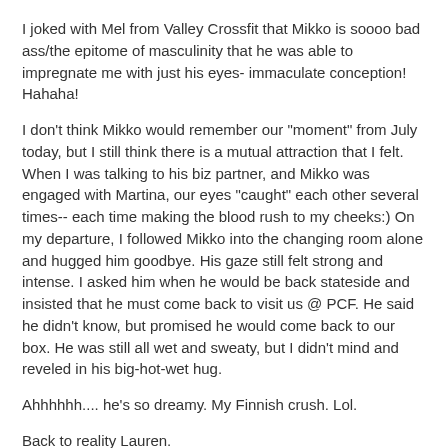I joked with Mel from Valley Crossfit that Mikko is soooo bad ass/the epitome of masculinity that he was able to impregnate me with just his eyes- immaculate conception! Hahaha!
I don't think Mikko would remember our "moment" from July today, but I still think there is a mutual attraction that I felt. When I was talking to his biz partner, and Mikko was engaged with Martina, our eyes "caught" each other several times-- each time making the blood rush to my cheeks:) On my departure, I followed Mikko into the changing room alone and hugged him goodbye. His gaze still felt strong and intense. I asked him when he would be back stateside and insisted that he must come back to visit us @ PCF. He said he didn't know, but promised he would come back to our box. He was still all wet and sweaty, but I didn't mind and reveled in his big-hot-wet hug.
Ahhhhhh.... he's so dreamy. My Finnish crush. Lol.
Back to reality Lauren.